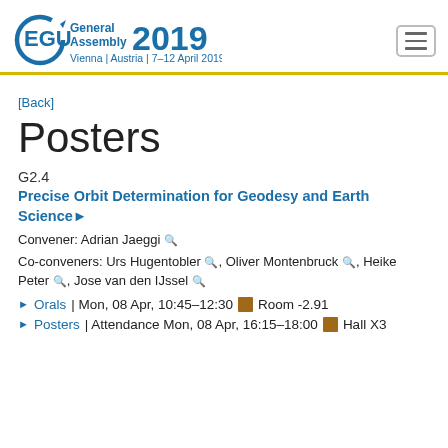[Figure (logo): EGU General Assembly 2019 logo with text: Vienna | Austria | 7-12 April 2019]
[Back]
Posters
G2.4
Precise Orbit Determination for Geodesy and Earth Science▶
Convener: Adrian Jaeggi 🔍
Co-conveners: Urs Hugentobler 🔍, Oliver Montenbruck 🔍, Heike Peter 🔍, Jose van den IJssel 🔍
▶ Orals | Mon, 08 Apr, 10:45–12:30 ■ Room -2.91
▶ Posters | Attendance Mon, 08 Apr, 16:15–18:00 ■ Hall X3